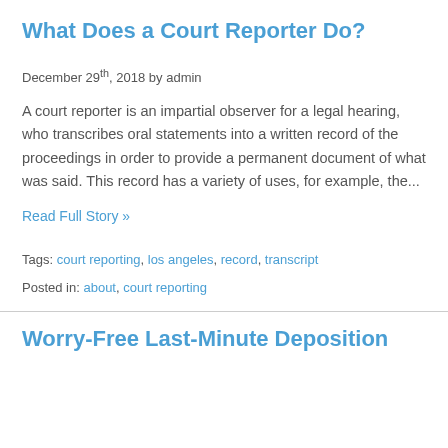What Does a Court Reporter Do?
December 29th, 2018 by admin
A court reporter is an impartial observer for a legal hearing, who transcribes oral statements into a written record of the proceedings in order to provide a permanent document of what was said. This record has a variety of uses, for example, the...
Read Full Story »
Tags: court reporting, los angeles, record, transcript
Posted in: about, court reporting
Worry-Free Last-Minute Deposition